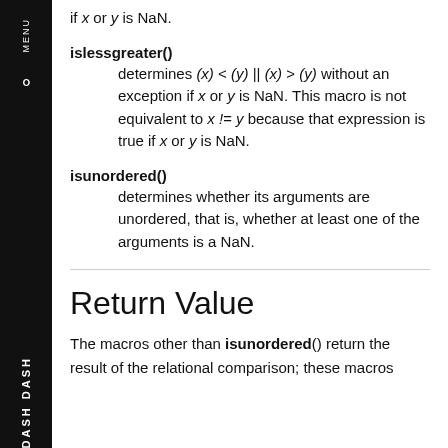if x or y is NaN.
islessgreater() determines (x) < (y) || (x) > (y) without an exception if x or y is NaN. This macro is not equivalent to x != y because that expression is true if x or y is NaN.
isunordered() determines whether its arguments are unordered, that is, whether at least one of the arguments is a NaN.
Return Value
The macros other than isunordered() return the result of the relational comparison; these macros